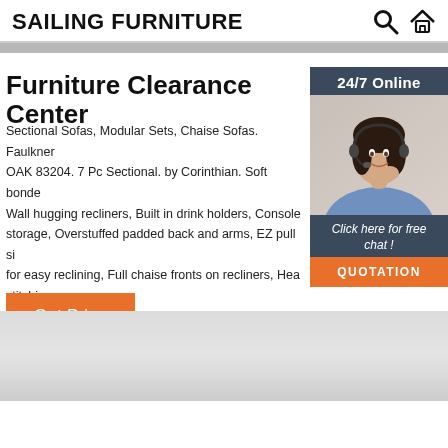SAILING FURNITURE
Furniture Clearance Center
Sectional Sofas, Modular Sets, Chaise Sofas. Faulkner OAK 83204. 7 Pc Sectional. by Corinthian. Soft bonde Wall hugging recliners, Built in drink holders, Console storage, Overstuffed padded back and arms, EZ pull si for easy reclining, Full chaise fronts on recliners, Hea stitching
[Figure (photo): Customer service representative woman wearing headset, smiling, with 24/7 Online text and Click here for free chat! and QUOTATION button on dark blue background sidebar widget]
Get Price
[Figure (photo): Bottom gray image area, partially visible furniture or placeholder image]